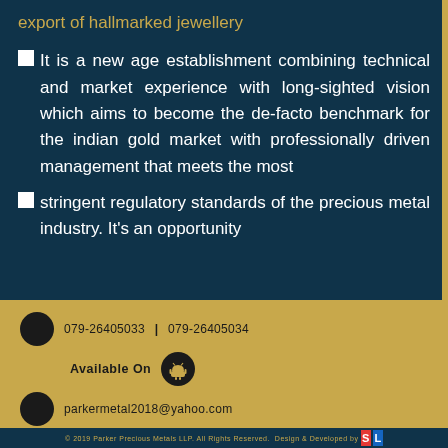export of hallmarked jewellery
It is a new age establishment combining technical and market experience with long-sighted vision which aims to become the de-facto benchmark for the indian gold market with professionally driven management that meets the most
stringent regulatory standards of the precious metal industry. It's an opportunity
079-26405033 | 079-26405034
Available On
parkermetal2018@yahoo.com
© 2019 Parker Precious Metals LLP. All Rights Reserved. Design & Developed by